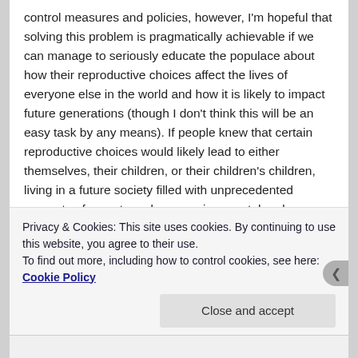control measures and policies, however, I'm hopeful that solving this problem is pragmatically achievable if we can manage to seriously educate the populace about how their reproductive choices affect the lives of everyone else in the world and how it is likely to impact future generations (though I don't think this will be an easy task by any means). If people knew that certain reproductive choices would likely lead to either themselves, their children, or their children's children, living in a future society filled with unprecedented amounts of poverty and war, environmental and economic collapse, and numerous other sources of suffering – any rational person would heed that knowledge and try their best to combat that possible future.
Privacy & Cookies: This site uses cookies. By continuing to use this website, you agree to their use.
To find out more, including how to control cookies, see here: Cookie Policy